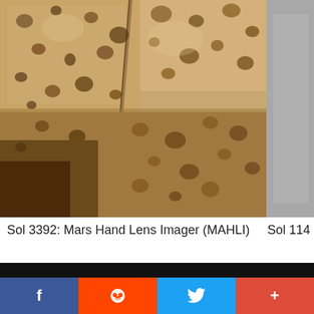[Figure (photo): Close-up photo of Mars rock surface taken by Mars Hand Lens Imager (MAHLI), showing tan/orange sedimentary rock with pitted texture and a diagonal crack, Sol 3392]
[Figure (photo): Partially visible gray/silver image at right edge, partially cropped, Sol 1140s]
Sol 3392: Mars Hand Lens Imager (MAHLI)
Sol 114
Get the Mars Newsletter